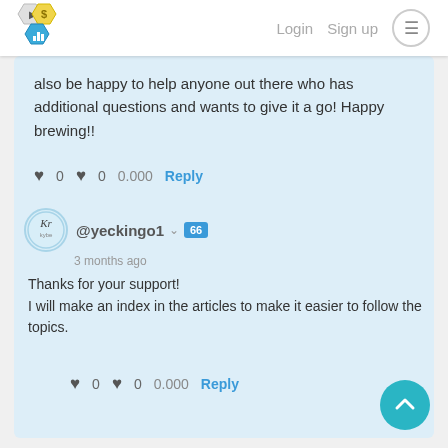Login  Sign up  ≡
also be happy to help anyone out there who has additional questions and wants to give it a go! Happy brewing!!
♥ 0   ♥ 0   0.000   Reply
@yeckingo1 ∨ 66   3 months ago
Thanks for your support!
I will make an index in the articles to make it easier to follow the topics.
♥ 0   ♥ 0   0.000   Reply